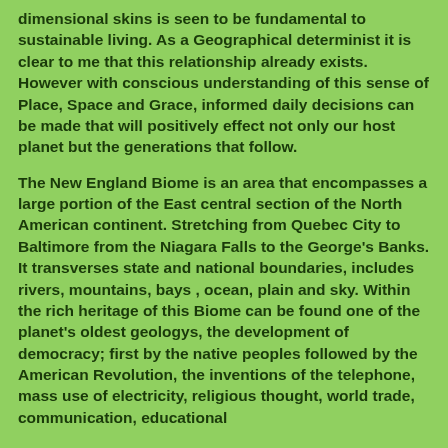dimensional skins is seen to be fundamental to sustainable living. As a Geographical determinist it is clear to me that this relationship already exists. However with conscious understanding of this sense of Place, Space and Grace, informed daily decisions can be made that will positively effect not only our host planet but the generations that follow.
The New England Biome is an area that encompasses a large portion of the East central section of the North American continent. Stretching from Quebec City to Baltimore from the Niagara Falls to the George's Banks. It transverses state and national boundaries, includes rivers, mountains, bays , ocean, plain and sky. Within the rich heritage of this Biome can be found one of the planet's oldest geologys, the development of democracy; first by the native peoples followed by the American Revolution, the inventions of the telephone, mass use of electricity, religious thought, world trade, communication, educational